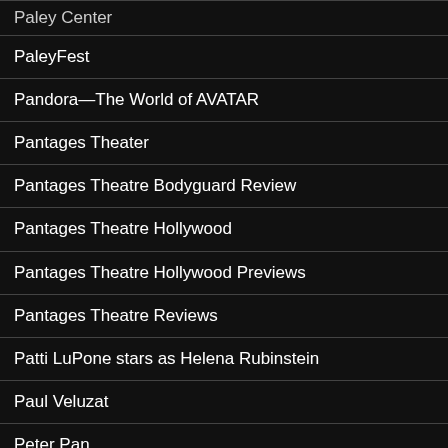Paley Center
PaleyFest
Pandora—The World of AVATAR
Pantages Theater
Pantages Theatre Bodyguard Review
Pantages Theatre Hollywood
Pantages Theatre Hollywood Previews
Pantages Theatre Reviews
Patti LuPone stars as Helena Rubinstein
Paul Veluzat
Peter Pan
Pixar Pier
Politics